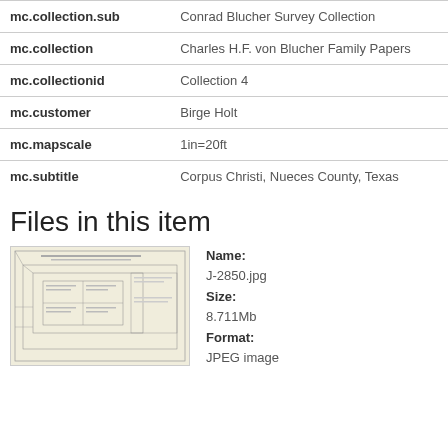| Field | Value |
| --- | --- |
| mc.collection.sub | Conrad Blucher Survey Collection |
| mc.collection | Charles H.F. von Blucher Family Papers |
| mc.collectionid | Collection 4 |
| mc.customer | Birge Holt |
| mc.mapscale | 1in=20ft |
| mc.subtitle | Corpus Christi, Nueces County, Texas |
Files in this item
[Figure (photo): Thumbnail of a survey map document J-2850.jpg showing architectural/land survey drawings with rectangular outlines and text.]
Name: J-2850.jpg Size: 8.711Mb Format: JPEG image